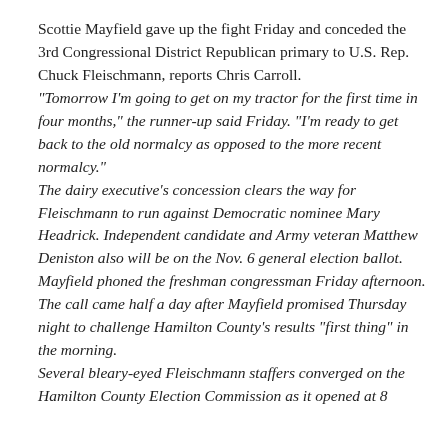Scottie Mayfield gave up the fight Friday and conceded the 3rd Congressional District Republican primary to U.S. Rep. Chuck Fleischmann, reports Chris Carroll. "Tomorrow I'm going to get on my tractor for the first time in four months," the runner-up said Friday. "I'm ready to get back to the old normalcy as opposed to the more recent normalcy." The dairy executive's concession clears the way for Fleischmann to run against Democratic nominee Mary Headrick. Independent candidate and Army veteran Matthew Deniston also will be on the Nov. 6 general election ballot. Mayfield phoned the freshman congressman Friday afternoon. The call came half a day after Mayfield promised Thursday night to challenge Hamilton County's results "first thing" in the morning. Several bleary-eyed Fleischmann staffers converged on the Hamilton County Election Commission as it opened at 8